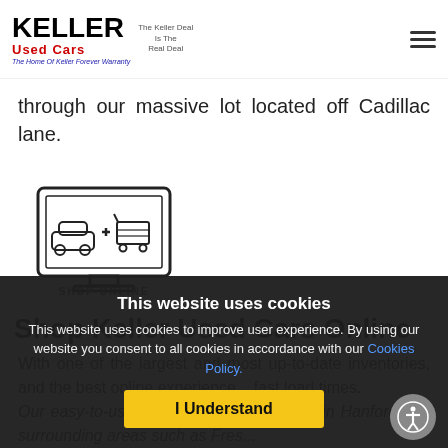Keller Used Cars — The Keller Deal Is The Real Deal — The Home Of Keller Forever Warranty
through our massive lot located off Cadillac lane.
[Figure (illustration): Icon of a car plus a shopping cart on a computer monitor screen, with label SHOP ONLINE below]
Shop Keller Used Cars Online
With one of the largest and most up-to-date inventories... best online experience... load times. Our easy-to-use website allows shoppers in Hanford and surrounding areas such as Fresno...
This website uses cookies. This website uses cookies to improve user experience. By using our website you consent to all cookies in accordance with our Cookies Policy. I Understand